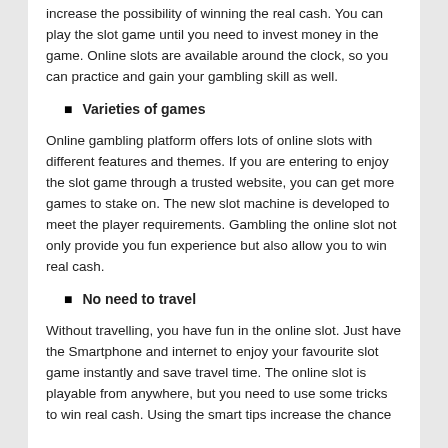increase the possibility of winning the real cash. You can play the slot game until you need to invest money in the game. Online slots are available around the clock, so you can practice and gain your gambling skill as well.
Varieties of games
Online gambling platform offers lots of online slots with different features and themes. If you are entering to enjoy the slot game through a trusted website, you can get more games to stake on. The new slot machine is developed to meet the player requirements. Gambling the online slot not only provide you fun experience but also allow you to win real cash.
No need to travel
Without travelling, you have fun in the online slot. Just have the Smartphone and internet to enjoy your favourite slot game instantly and save travel time. The online slot is playable from anywhere, but you need to use some tricks to win real cash. Using the smart tips increase the chance